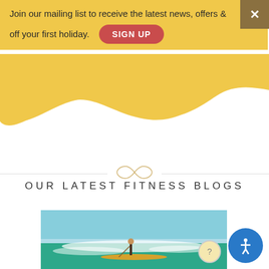Join our mailing list to receive the latest news, offers & off your first holiday.
SIGN UP
[Figure (illustration): Yellow paint-brush blob shape covering upper portion of page]
[Figure (illustration): Decorative infinity/loop ornament symbol with horizontal lines on either side]
OUR LATEST FITNESS BLOGS
[Figure (photo): Person stand-up paddle boarding on ocean waves with blue sky and turquoise water]